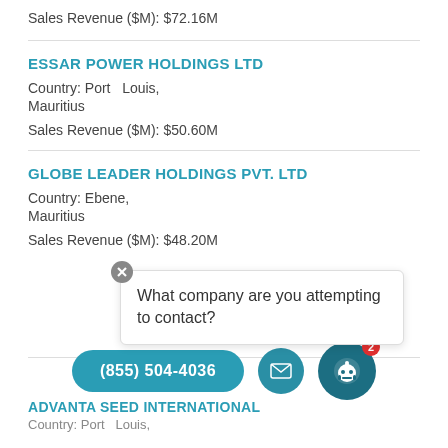Sales Revenue ($M): $72.16M
ESSAR POWER HOLDINGS LTD
Country: Port Louis, Mauritius
Sales Revenue ($M): $50.60M
GLOBE LEADER HOLDINGS PVT. LTD
Country: Ebene, Mauritius
Sales Revenue ($M): $48.20M
[Figure (screenshot): Chat popup with close button and text: What company are you attempting to contact?]
[Figure (infographic): Bottom bar with phone button (855) 504-4036, email icon button, and robot/chat icon button with red badge showing 2]
ADVANTA SEED INTERNATIONAL
Country: Port Louis,